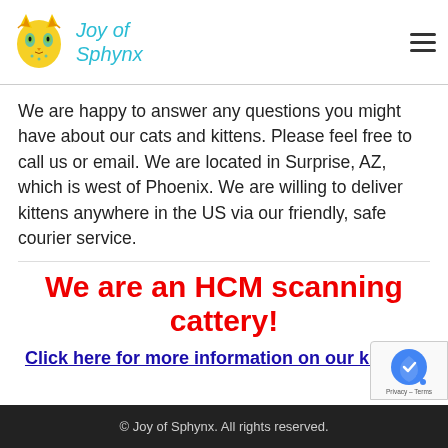Joy of Sphynx
We are happy to answer any questions you might have about our cats and kittens. Please feel free to call us or email. We are located in Surprise, AZ, which is west of Phoenix. We are willing to deliver kittens anywhere in the US via our friendly, safe courier service.
We are an HCM scanning cattery!
Click here for more information on our kittens!
© Joy of Sphynx. All rights reserved.